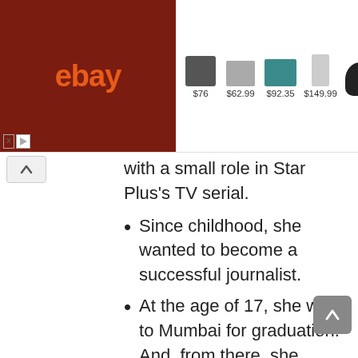[Figure (screenshot): eBay advertisement banner showing products with prices: $76, $62.99, $92.35, $149.99, and $349.99]
with a small role in Star Plus's TV serial.
Since childhood, she wanted to become a successful journalist.
At the age of 17, she went to Mumbai for graduation. And, from there, she increased towards the entertainment industry.
At the age of 18, she did her first audition as a model.
Apart from the acting field, she also